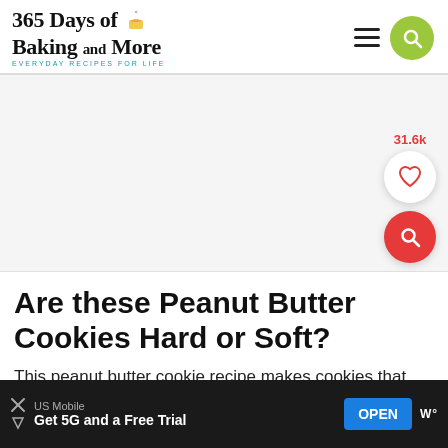365 Days of Baking and More — EVERYDAY RECIPES FOR LIFE
[Figure (other): Gray advertisement placeholder area]
Are these Peanut Butter Cookies Hard or Soft?
This peanut butter cookie recipe makes cookies that are
[Figure (infographic): Bottom mobile advertisement banner: US Mobile — Get 5G and a Free Trial — OPEN button]